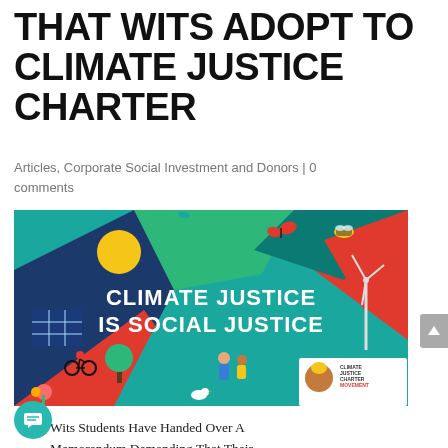THAT WITS ADOPT TO CLIMATE JUSTICE CHARTER
Articles, Corporate Social Investment and Donors | 0 comments
[Figure (illustration): Colorful illustrated banner with geometric shapes in teal, red, navy, and green. Features icons of solar panels, a wind turbine, a bee, butterfly, bicycle rider, flowers, and people. White bold text reads 'CLIMATE JUSTICE IS SOCIAL JUSTICE'. Bottom right corner has a Climate Justice Charter Movement logo with a person wearing a floral headpiece.]
Wits Students Have Handed Over A Memorandum Demanding That Their University Adopt The Climate Justice Charter, Which Means Divesting From